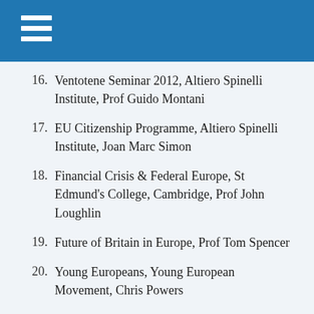16. Ventotene Seminar 2012, Altiero Spinelli Institute, Prof Guido Montani
17. EU Citizenship Programme, Altiero Spinelli Institute, Joan Marc Simon
18. Financial Crisis & Federal Europe, St Edmund's College, Cambridge, Prof John Loughlin
19. Future of Britain in Europe, Prof Tom Spencer
20. Young Europeans, Young European Movement, Chris Powers